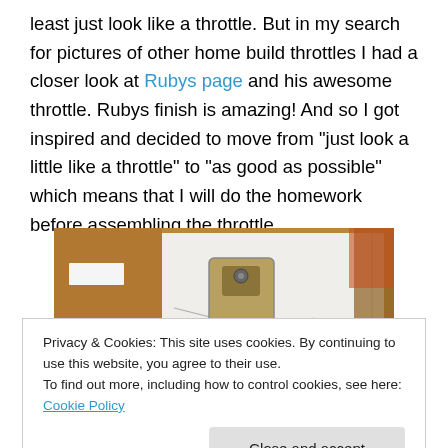least just look like a throttle. But in my search for pictures of other home build throttles I had a closer look at Rubys page and his awesome throttle. Rubys finish is amazing! And so I got inspired and decided to move from "just look a little like a throttle" to "as good as possible" which means that I will do the homework before assembling the throttle.
[Figure (photo): Photo of a right throttle lever mechanism — a metal bracket/plate with a lever arm and circular dial, placed against a white paper drawing with pencil sketches.]
Right throttle lever
Privacy & Cookies: This site uses cookies. By continuing to use this website, you agree to their use.
To find out more, including how to control cookies, see here: Cookie Policy